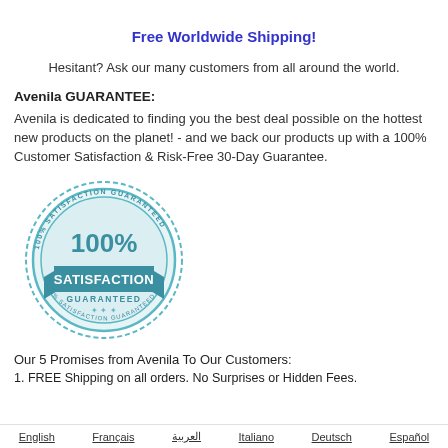Free Worldwide Shipping!
Hesitant? Ask our many customers from all around the world.
Avenila GUARANTEE:
Avenila is dedicated to finding you the best deal possible on the hottest new products on the planet! - and we back our products up with a 100% Customer Satisfaction & Risk-Free 30-Day Guarantee.
[Figure (illustration): 100% Satisfaction Guaranteed badge/stamp in blue teal color with circular design and ribbon banner]
Our 5 Promises from Avenila To Our Customers:
1. FREE Shipping on all orders. No Surprises or Hidden Fees.
English   Français   العربية   Italiano   Deutsch   Español